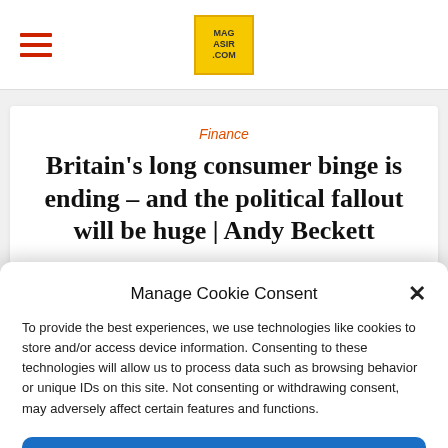MAGASIR.COM
Finance
Britain's long consumer binge is ending – and the political fallout will be huge | Andy Beckett
Manage Cookie Consent
To provide the best experiences, we use technologies like cookies to store and/or access device information. Consenting to these technologies will allow us to process data such as browsing behavior or unique IDs on this site. Not consenting or withdrawing consent, may adversely affect certain features and functions.
Accept